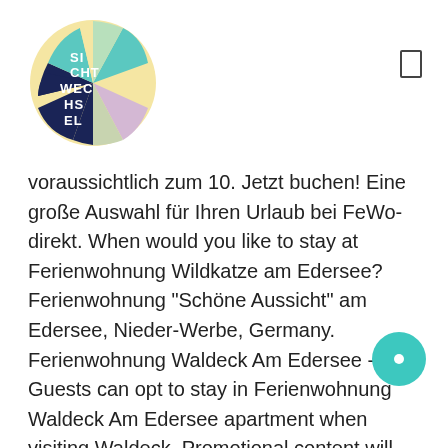[Figure (logo): Sichtwechsel logo: circular logo with colorful segments (yellow, teal, dark navy, light green/pink) containing white text reading SI CH T WE CH SE L]
voraussichtlich zum 10. Jetzt buchen! Eine große Auswahl für Ihren Urlaub bei FeWo-direkt. When would you like to stay at Ferienwohnung Wildkatze am Edersee? Ferienwohnung "Schöne Aussicht" am Edersee, Nieder-Werbe, Germany. Ferienwohnung Waldeck Am Edersee - Guests can opt to stay in Ferienwohnung Waldeck Am Edersee apartment when visiting Waldeck. Promotional content will be removed and issues concerning Booking.com's services should be routed to our Customer Service or Accommodation Service teams. Die Ferienwohnung mit einer Grundfläche von ca. The